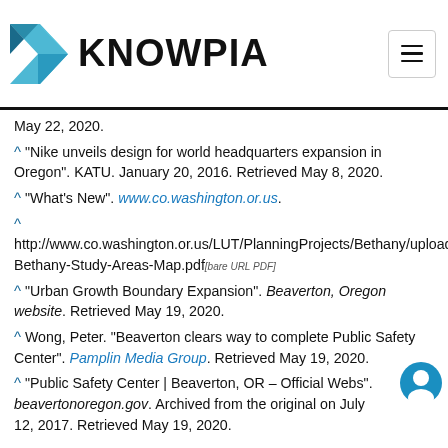KNOWPIA
May 22, 2020.
^ "Nike unveils design for world headquarters expansion in Oregon". KATU. January 20, 2016. Retrieved May 8, 2020.
^ "What's New". www.co.washington.or.us.
^ http://www.co.washington.or.us/LUT/PlanningProjects/Bethany/upload/North-Bethany-Study-Areas-Map.pdf[bare URL PDF]
^ "Urban Growth Boundary Expansion". Beaverton, Oregon website. Retrieved May 19, 2020.
^ Wong, Peter. "Beaverton clears way to complete Public Safety Center". Pamplin Media Group. Retrieved May 19, 2020.
^ "Public Safety Center | Beaverton, OR – Official Website". beavertonoregon.gov. Archived from the original on July 12, 2017. Retrieved May 19, 2020.